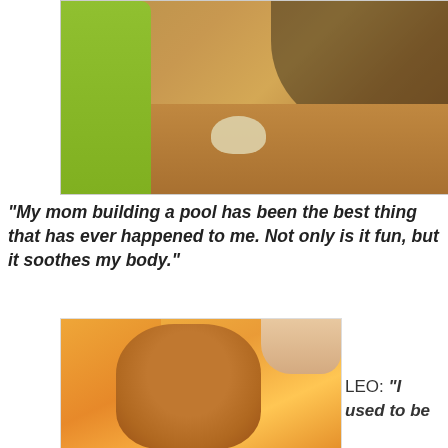[Figure (photo): Top portion of a dog (paws visible) standing on a wooden/tile surface with a person in green clothing beside it, sunlit outdoor scene]
“My mom building a pool has been the best thing that has ever happened to me. Not only is it fun, but it soothes my body.”
[Figure (photo): A small brown Chihuahua dog named Leo wrapped in orange and pink towels/blankets, being held by a person, looking at the camera with sleepy eyes]
LEO: “I used to be